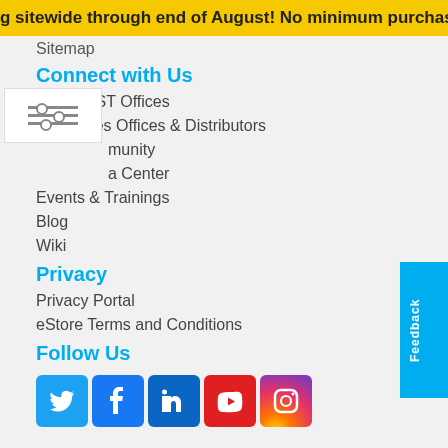g sitewide through end of August! No minimum purchase or co...
Sitemap
Connect with Us
Contact ST Offices
Find Sales Offices & Distributors
...munity
...a Center
Events & Trainings
Blog
Wiki
Privacy
Privacy Portal
eStore Terms and Conditions
Follow Us
[Figure (infographic): Social media icons: Twitter (blue bird), Facebook (blue f), LinkedIn (blue in), YouTube (red play button), Instagram (gradient camera)]